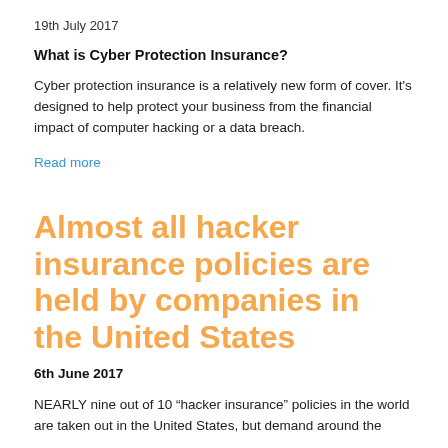19th July 2017
What is Cyber Protection Insurance?
Cyber protection insurance is a relatively new form of cover. It’s designed to help protect your business from the financial impact of computer hacking or a data breach.
Read more
Almost all hacker insurance policies are held by companies in the United States
6th June 2017
NEARLY nine out of 10 “hacker insurance” policies in the world are taken out in the United States, but demand around the